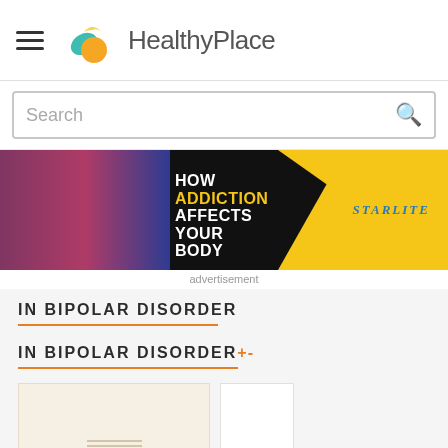HealthyPlace
Search
[Figure (advertisement): Banner ad: HOW ADDICTION AFFECTS YOUR BODY - Starlite. Dark background with woman's face on left, yellow triangle on right with Starlite text.]
advertisement
IN BIPOLAR DISORDER
IN BIPOLAR DISORDER +–